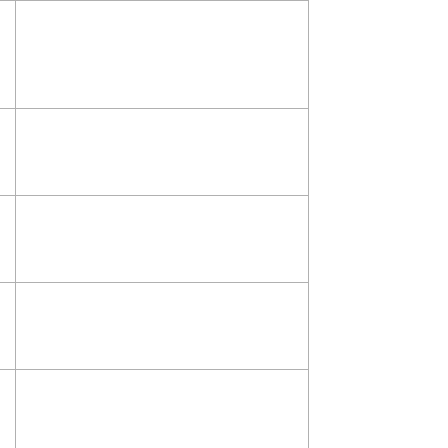| 4/5_Port_Solenoid_V... |  |
| 4/5_Port_Solenoid_V... |  |
| 4/5_Port_Solenoid_V... |  |
| 4/5_Port_Solenoid_V... |  |
| 4/5_Port_Solenoid_V... |  |
| 4/5_Port_Solenoid_V... |  |